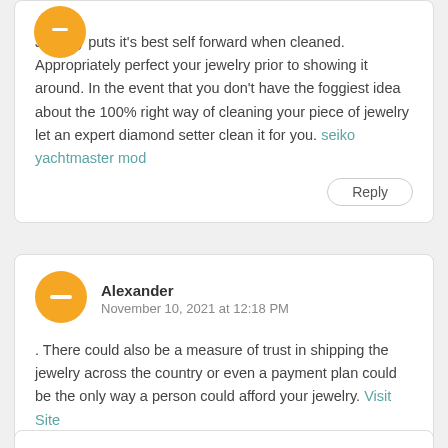Jewelry puts it's best self forward when cleaned. Appropriately perfect your jewelry prior to showing it around. In the event that you don't have the foggiest idea about the 100% right way of cleaning your piece of jewelry let an expert diamond setter clean it for you. seiko yachtmaster mod
Reply
Alexander
November 10, 2021 at 12:18 PM
. There could also be a measure of trust in shipping the jewelry across the country or even a payment plan could be the only way a person could afford your jewelry. Visit Site
Reply